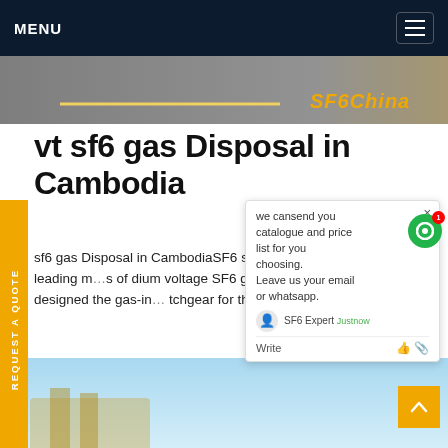MENU
[Figure (photo): Hero image strip showing road/ground surface with SF6China text overlay in gold italic]
vt sf6 gas Disposal in Cambodia
sf6 gas Disposal in CambodiaSF6 ... switchgear. As one of the leading m... s of dium voltage SF6 gas-insulat ... s (GIS) hina, Orecco designed the gas-in... tchgear for the secondary voltage distribution work in 6 different configurations. s is suitable for st switching applications in 11KV/33KV secondary distribution networks. Get PriceGet price
[Figure (screenshot): Chat popup overlay: 'we can send you catalogue and price list for you choosing. Leave us your email or whatsapp.' with SF6 Expert agent avatar, justnow timestamp, Write field with thumbs up and paperclip icons. Green chat bubble button with red notification badge showing 1.]
[Figure (photo): Bottom blue sky image strip with partial product image visible]
REQUEST A QUOTE